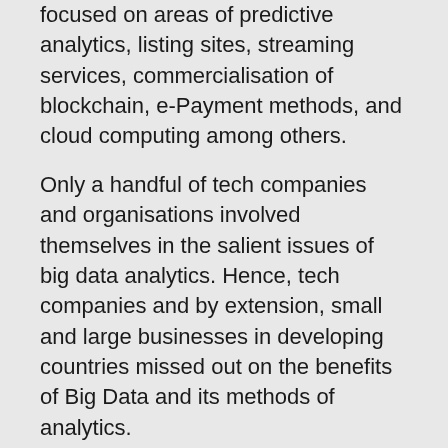focused on areas of predictive analytics, listing sites, streaming services, commercialisation of blockchain, e-Payment methods, and cloud computing among others.
Only a handful of tech companies and organisations involved themselves in the salient issues of big data analytics. Hence, tech companies and by extension, small and large businesses in developing countries missed out on the benefits of Big Data and its methods of analytics.
Can Big Data Analytics Help Combat COVID-19 Pandemic in Nigeria?
The total number of confirmed coronavirus cases in the African continent is nearing 20,000 with almost 800 in Nigeria as of when this article was